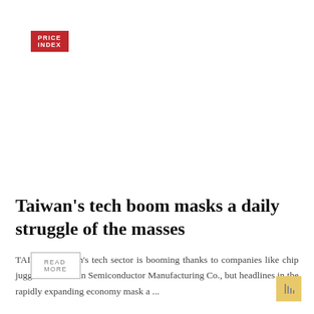PRICE INDEX
0 / 0
Taiwan's tech boom masks a daily struggle of the masses
TAIPEI – Taiwan's tech sector is booming thanks to companies like chip juggernaut Taiwan Semiconductor Manufacturing Co., but headlines in the rapidly expanding economy mask a ...
READ MORE